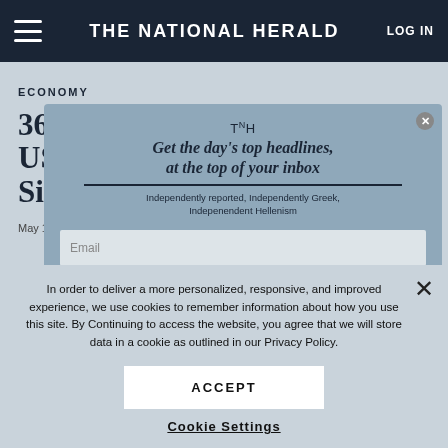THE NATIONAL HERALD | LOG IN
ECONOMY
30 Million Have Sought US Unemployment Since COVID-19 Hit
May 14, 2020 | by Associated Press
[Figure (screenshot): Newsletter subscription popup with TNH logo, headline 'Get the day's top headlines, at the top of your inbox', subtitle 'Independently reported, Independently Greek, Independent Hellenism', and email input field]
Provide your email address to subscribe. For e.g. abc@xyz.com
I agree to receive your newsletters and accept the data privacy statement.
In order to deliver a more personalized, responsive, and improved experience, we use cookies to remember information about how you use this site. By Continuing to access the website, you agree that we will store data in a cookie as outlined in our Privacy Policy.
ACCEPT
Cookie Settings